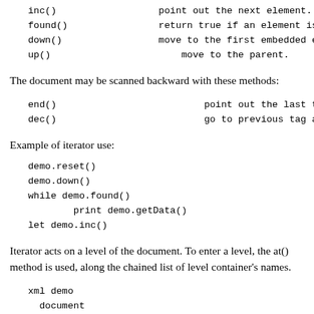inc()		point out the next element.
found()		return true if an element is
down()		move to the first embedded ele
up()		move to the parent.
The document may be scanned backward with these methods:
end()		point out the last tag at the
dec()		go to previous tag at same le
Example of iterator use:
demo.reset()
demo.down()
while demo.found()
      print demo.getData()
let demo.inc()
Iterator acts on a level of the document. To enter a level, the at() method is used, along the chained list of level container's names.
xml demo
  document
      element
          "data'"
      /
      element